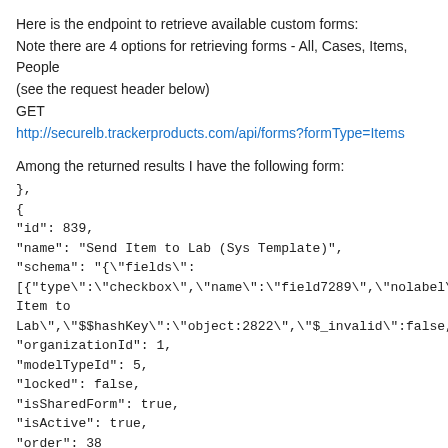Here is the endpoint to retrieve available custom forms:
Note there are 4 options for retrieving forms - All, Cases, Items, People
(see the request header below)
GET
http://securelb.trackerproducts.com/api/forms?formType=Items
Among the returned results I have the following form:
},
{
"id": 839,
"name": "Send Item to Lab (Sys Template)",
"schema": "{\"fields\":
[{\"type\":\"checkbox\",\"name\":\"field7289\",\"nolabel\":true,\"displayNa
Item to
Lab\",\"$$hashKey\":\"object:2822\",\"$_invalid\":false,\"$_displayPrope
"organizationId": 1,
"modelTypeId": 5,
"locked": false,
"isSharedForm": true,
"isActive": true,
"order": 38
}